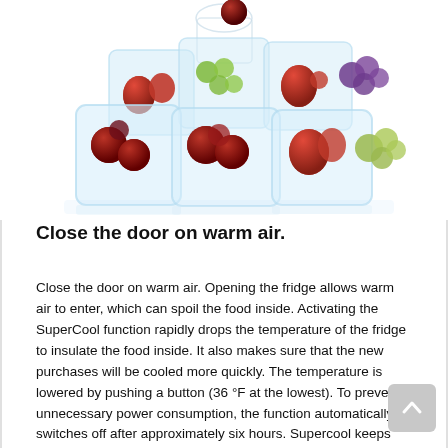[Figure (photo): Photo of multiple ice cubes containing frozen fruits including cherries, strawberries, grapes, and gooseberries, arranged on a white background with reflections.]
Close the door on warm air.
Close the door on warm air. Opening the fridge allows warm air to enter, which can spoil the food inside. Activating the SuperCool function rapidly drops the temperature of the fridge to insulate the food inside. It also makes sure that the new purchases will be cooled more quickly. The temperature is lowered by pushing a button (36 °F at the lowest). To prevent unnecessary power consumption, the function automatically switches off after approximately six hours. Supercool keeps your